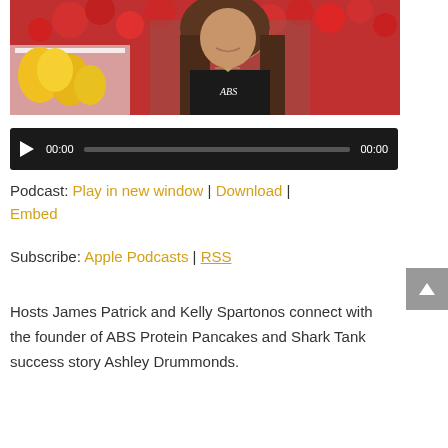[Figure (photo): Woman with long brown hair smiling, wearing a black ABS tank top, with red and yellow flowers in the background]
[Figure (other): Audio player with play button, 00:00 start time, progress bar, and 00:00 end time on dark background]
Podcast: Play in new window | Download | Embed
Subscribe: Apple Podcasts | RSS
Hosts James Patrick and Kelly Spartonos connect with the founder of ABS Protein Pancakes and Shark Tank success story Ashley Drummonds.